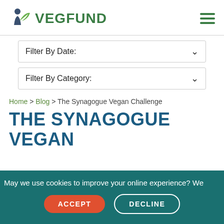[Figure (logo): VegFund logo with stylized person and leaf icon in dark teal/green, and VEGFUND text in green bold font]
Filter By Date:
Filter By Category:
Home > Blog > The Synagogue Vegan Challenge
THE SYNAGOGUE VEGAN
May we use cookies to improve your online experience? We
ACCEPT
DECLINE